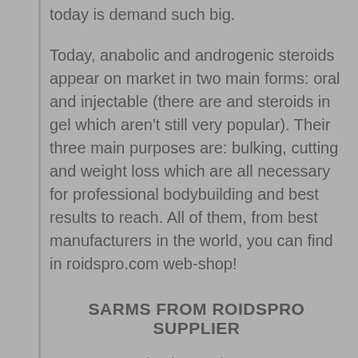today is demand such big.
Today, anabolic and androgenic steroids appear on market in two main forms: oral and injectable (there are and steroids in gel which aren't still very popular). Their three main purposes are: bulking, cutting and weight loss which are all necessary for professional bodybuilding and best results to reach. All of them, from best manufacturers in the world, you can find in roidspro.com web-shop!
SARMS FROM ROIDSPRO SUPPLIER
SARMs or Selective Androgen Receptor modulators are a innovations in class of androgenic ligands. SARMs generally have the same purposes as androgenic steroids, but we can describe them as mroe selective supplements which can be used for more than one,